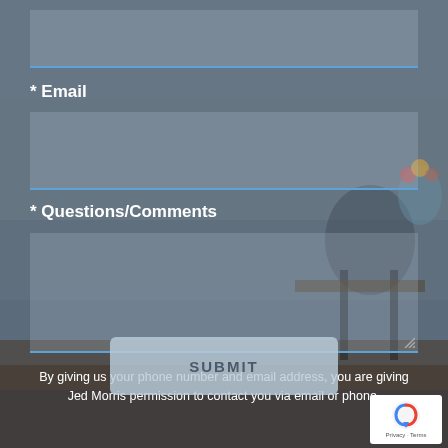[Figure (screenshot): Background image of a home interior with chairs, table, and hardwood floor overlaid with dark semi-transparent overlay]
* Email
* Questions/Comments
By giving us your phone number and email address, you are giving Jed Morris permission to contact you via email or phone.
SUBMIT
[Figure (logo): Google reCAPTCHA badge with Privacy and Terms links]